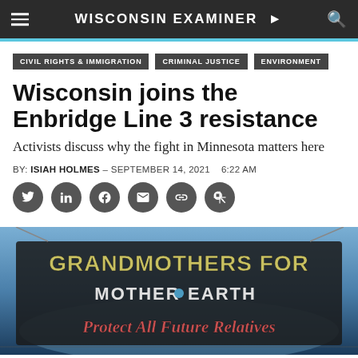WISCONSIN EXAMINER
CIVIL RIGHTS & IMMIGRATION
CRIMINAL JUSTICE
ENVIRONMENT
Wisconsin joins the Enbridge Line 3 resistance
Activists discuss why the fight in Minnesota matters here
BY: ISIAH HOLMES - SEPTEMBER 14, 2021   6:22 AM
[Figure (photo): A protest banner reading 'GRANDMOTHERS FOR MOTHER EARTH — Protect All Future Relatives' held up against a twilight sky]